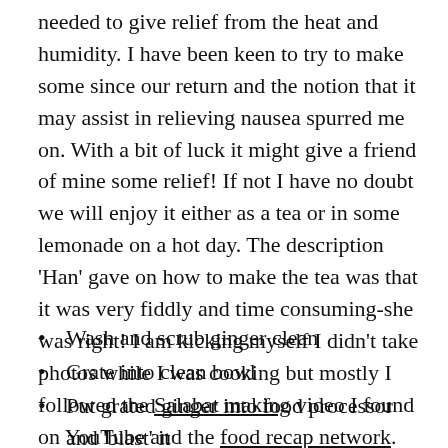needed to give relief from the heat and humidity. I have been keen to try to make some since our return and the notion that it may assist in relieving nausea spurred me on. With a bit of luck it might give a friend of mine some relief! If not I have no doubt we will enjoy it either as a tea or in some lemonade on a hot day. The description 'Han' gave on how to make the tea was that it was very fiddly and time consuming-she was right! I am kicking myself I didn't take photos while I was cooking but mostly I followed the Salabat making video I found on YouTube and the food recap network. Broken down the method was basically
Wash and scrub ginger clean
Grate into clean bowl
Put grated ginger into food processor and 'blast' it
Squeeze out as much juice as possible (put processed ginger into cheesecloth and squeeze/wring until no more